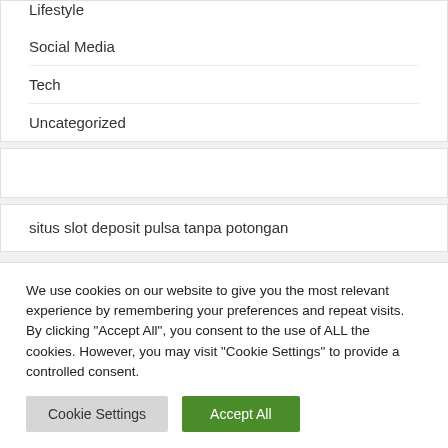Lifestyle
Social Media
Tech
Uncategorized
situs slot deposit pulsa tanpa potongan
We use cookies on our website to give you the most relevant experience by remembering your preferences and repeat visits. By clicking "Accept All", you consent to the use of ALL the cookies. However, you may visit "Cookie Settings" to provide a controlled consent.